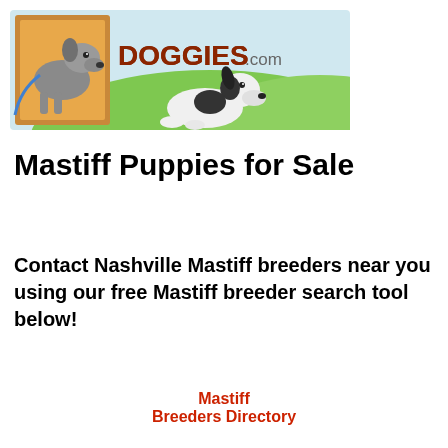[Figure (illustration): Doggies.com banner logo with a cartoon Labrador dog in a yellow square frame on the left, the text DOGGIES.com in brown/orange on the right, and a Great Dane puppy lying on green grass in the background.]
Mastiff Puppies for Sale
Contact Nashville Mastiff breeders near you using our free Mastiff breeder search tool below!
Mastiff
Breeders Directory